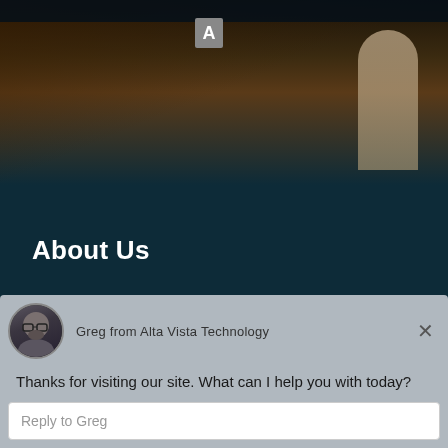[Figure (photo): Dark interior photo showing what appears to be a sports or entertainment venue with a letter 'A' sign visible, overlaid with dark teal gradient. A person in a light jacket is partially visible on the right.]
About Us
Our Process
Contact Us
Greg from Alta Vista Technology
Thanks for visiting our site. What can I help you with today?
Reply to Greg